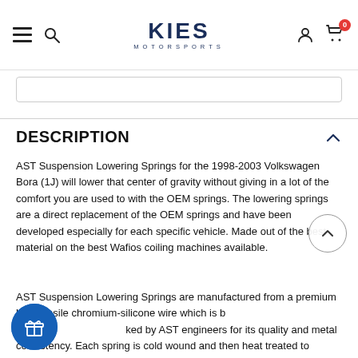KIES MOTORSPORTS
DESCRIPTION
AST Suspension Lowering Springs for the 1998-2003 Volkswagen Bora (1J) will lower that center of gravity without giving in a lot of the comfort you are used to with the OEM springs. The lowering springs are a direct replacement of the OEM springs and have been developed especially for each specific vehicle. Made out of the best material on the best Wafios coiling machines available.
AST Suspension Lowering Springs are manufactured from a premium high tensile chromium-silicone wire which is backed by AST engineers for its quality and metal consistency. Each spring is cold wound and then heat treated to increase hardness and reduce internal stresses present after